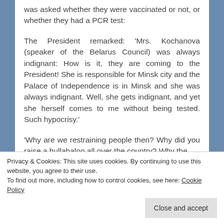was asked whether they were vaccinated or not, or whether they had a PCR test:
The President remarked: ‘Mrs. Kochanova (speaker of the Belarus Council) was always indignant: How is it, they are coming to the President! She is responsible for Minsk city and the Palace of Independence is in Minsk and she was always indignant. Well, she gets indignant, and yet she herself comes to me without being tested. Such hypocrisy.’
‘Why are we restraining people then? Why did you raise a hullabaloo all over the country? Why the
Privacy & Cookies: This site uses cookies. By continuing to use this website, you agree to their use.
To find out more, including how to control cookies, see here: Cookie Policy